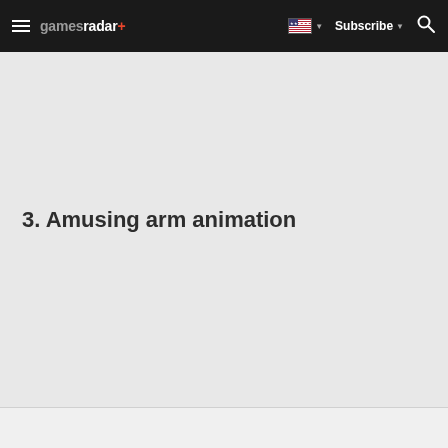gamesradar+ | Subscribe
3. Amusing arm animation